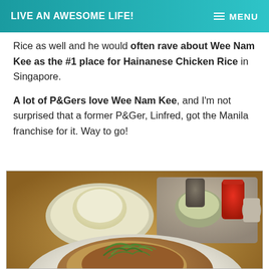LIVE AN AWESOME LIFE! | MENU
Rice as well and he would often rave about Wee Nam Kee as the #1 place for Hainanese Chicken Rice in Singapore.
A lot of P&Gers love Wee Nam Kee, and I'm not surprised that a former P&Ger, Linfred, got the Manila franchise for it. Way to go!
[Figure (photo): A plate of Hainanese Chicken Rice with sauces and a mound of rice on a separate plate in the background.]